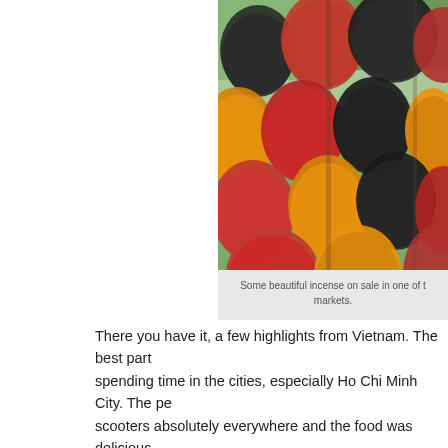[Figure (photo): Colorful incense sticks arranged in fan shapes, displayed in red, orange/yellow, and black/dark colors at a market stall with green foliage in the background.]
Some beautiful incense on sale in one of the markets.
There you have it, a few highlights from Vietnam. The best part was spending time in the cities, especially Ho Chi Minh City. The pe... scooters absolutely everywhere and the food was delicious.